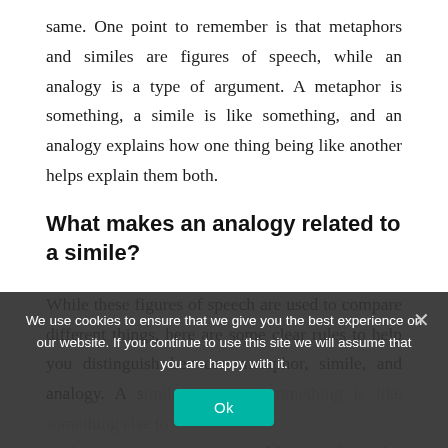same. One point to remember is that metaphors and similes are figures of speech, while an analogy is a type of argument. A metaphor is something, a simile is like something, and an analogy explains how one thing being like another helps explain them both.
What makes an analogy related to a simile?
While these figures of speech are used to compare different things, here are some clear rules to help you distinguish between metaphor, simile, and analogy. A simile is saying something is like something else to make some sort of an explanatory point.
We use cookies to ensure that we give you the best experience on our website. If you continue to use this site we will assume that you are happy with it.